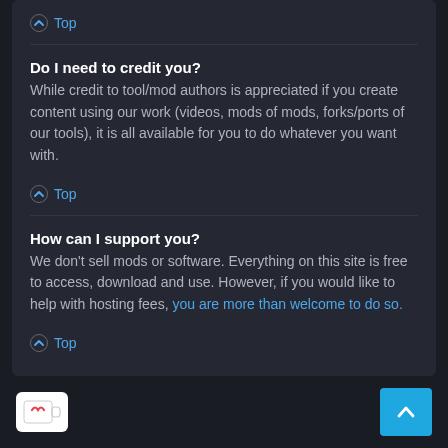⌃ Top
Do I need to credit you?
While credit to tool/mod authors is appreciated if you create content using our work (videos, mods of mods, forks/ports of our tools), it is all available for you to do whatever you want with.
⌃ Top
How can I support you?
We don't sell mods or software. Everything on this site is free to access, download and use. However, if you would like to help with hosting fees, you are more than welcome to do so.
⌃ Top
[Figure (logo): Ko-fi cup logo icon (white background, red heart on coffee cup)]
[Figure (other): Blue back-to-top button with white upward arrow]